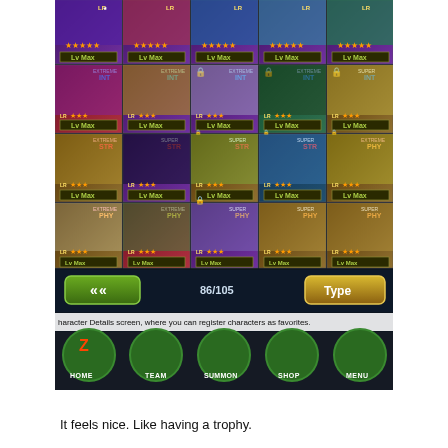[Figure (screenshot): Dragon Ball Z Dokkan Battle mobile game screenshot showing a character collection grid with multiple rows of character cards. Each card shows a character portrait with 'Lv Max' label, rarity (LR/CR), type badges (INT, STR, PHY), and star ratings. Bottom shows navigation bar: HOME, TEAM, SUMMON, SHOP, MENU. Counter shows 86/105 characters. An info bar reads: 'haracter Details screen, where you can register characters as favorites.']
It feels nice. Like having a trophy.